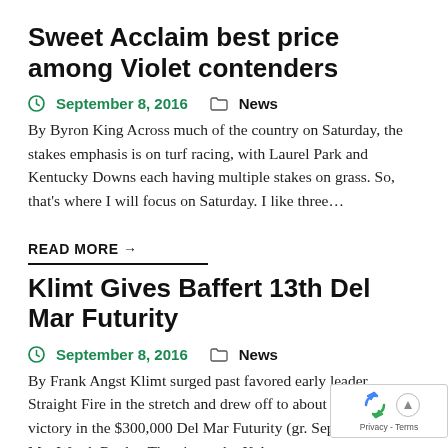Sweet Acclaim best price among Violet contenders
September 8, 2016   News
By Byron King Across much of the country on Saturday, the stakes emphasis is on turf racing, with Laurel Park and Kentucky Downs each having multiple stakes on grass. So, that's where I will focus on Saturday. I like three…
READ MORE →
Klimt Gives Baffert 13th Del Mar Futurity
September 8, 2016   News
By Frank Angst Klimt surged past favored early leader Straight Fire in the stretch and drew off to about a 4 length victory in the $300,000 Del Mar Futurity (gr. Sept. 5 at Del Mar.Watch Replay The victory by Kale…